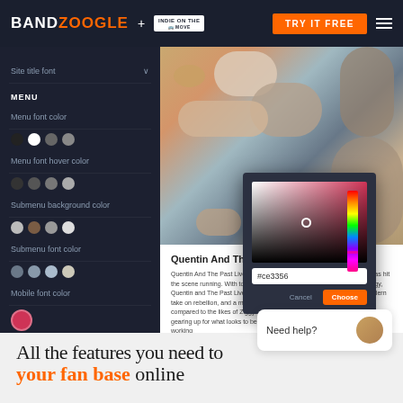BANDZOOGLE + INDIE ON THE MOVE — TRY IT FREE
[Figure (screenshot): Bandzoogle website builder interface showing left sidebar with color customization options (Site title font, MENU section with Menu font color, Menu font hover color, Submenu background color, Submenu font color, Mobile font color, Mobile background color, Menu font, CALL-TO-ACTION HEADER, Background color), a color picker overlay showing gradient, spectrum, hex input #ce3356, Cancel and Choose buttons, and a band photo of Quentin And The Past Lives]
Quentin And The Past Lives
Quentin And The Past Lives- A High Energy Heavy Pop/Rock band that has hit the scene running. With tones of funk, heavy drums, and captivating energy, Quentin and The Past Lives embodies all that is Rock and Roll with a modern take on rebellion, and a messy magnificent level of energy that can be compared to the likes of Ziggy Stardust and Mc Jagger. The Band is currently gearing up for what looks to be a busy 2022. Hot off a 5 show run at SXSW, working
All the features you need to grow your fan base online